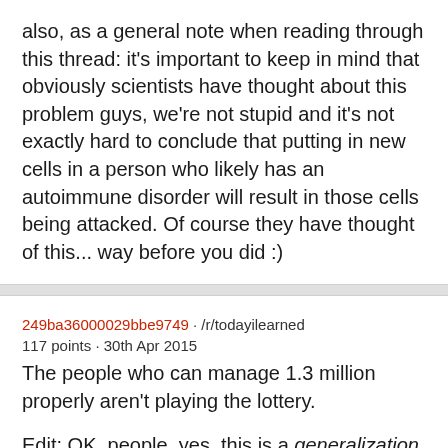also, as a general note when reading through this thread: it's important to keep in mind that obviously scientists have thought about this problem guys, we're not stupid and it's not exactly hard to conclude that putting in new cells in a person who likely has an autoimmune disorder will result in those cells being attacked. Of course they have thought of this... way before you did :)
249ba36000029bbe9749 · /r/todayilearned
117 points · 30th Apr 2015
The people who can manage 1.3 million properly aren't playing the lottery.
Edit: OK, people, yes, this is a generalization. Anyone can play the lottery including people who do it for "entertainment" but the fact of the matter is that studies show lotteries are clearly played at a disproportionately higher rate by poor people. One